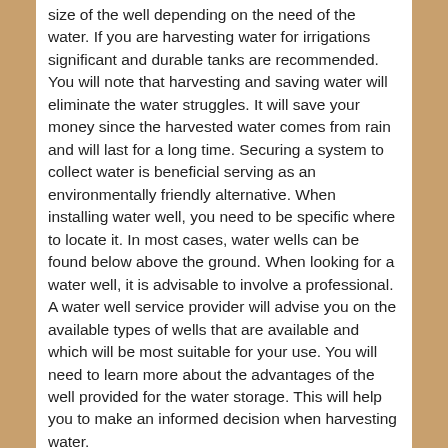size of the well depending on the need of the water. If you are harvesting water for irrigations significant and durable tanks are recommended. You will note that harvesting and saving water will eliminate the water struggles. It will save your money since the harvested water comes from rain and will last for a long time. Securing a system to collect water is beneficial serving as an environmentally friendly alternative. When installing water well, you need to be specific where to locate it. In most cases, water wells can be found below above the ground. When looking for a water well, it is advisable to involve a professional. A water well service provider will advise you on the available types of wells that are available and which will be most suitable for your use. You will need to learn more about the advantages of the well provided for the water storage. This will help you to make an informed decision when harvesting water.
Professionals will advise you on the location are result in collecting more volume water. Note that keeping the system a distance from the surface offers more efficient storage solutions including the most straightforward maintenance requirements. If you consider having your wells underground, additional construction will be needed. You will need to approach the professional for more information.